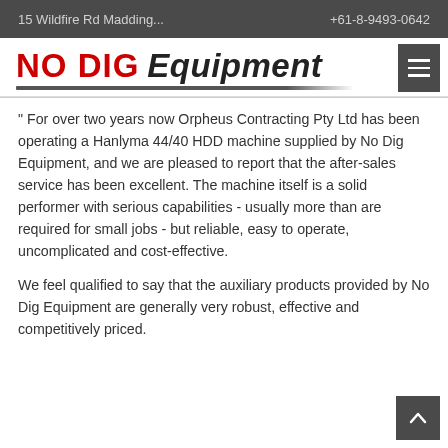15 Wildfire Rd Madding...   +61-8-9493-0642
[Figure (logo): NO DIG Equipment logo with red bold text 'NO DIG' and italic 'Equipment', with underline graphic]
" For over two years now Orpheus Contracting Pty Ltd has been operating a Hanlyma 44/40 HDD machine supplied by No Dig Equipment, and we are pleased to report that the after-sales service has been excellent. The machine itself is a solid performer with serious capabilities - usually more than are required for small jobs - but reliable, easy to operate, uncomplicated and cost-effective.
We feel qualified to say that the auxiliary products provided by No Dig Equipment are generally very robust, effective and competitively priced.